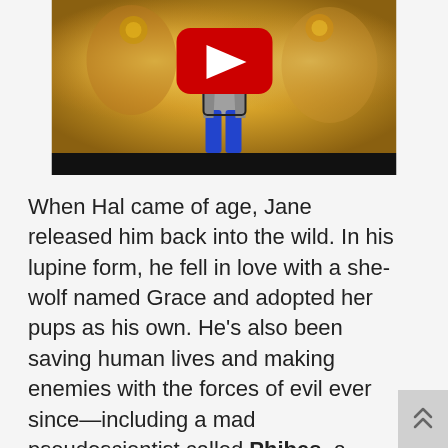[Figure (screenshot): YouTube video thumbnail showing an animated character in blue pants and grey coat with a red YouTube play button, on a golden/orange glowing background]
When Hal came of age, Jane released him back into the wild. In his lupine form, he fell in love with a she-wolf named Grace and adopted her pups as his own. He's also been saving human lives and making enemies with the forces of evil ever since—including a mad pseudoscientist called Phibes, a Bible-thumping trophy hunter named Jedidiah Clark, and the entire Lugosi Mob. But perhaps the so-called "Mauling Man" has yet to face his greatest